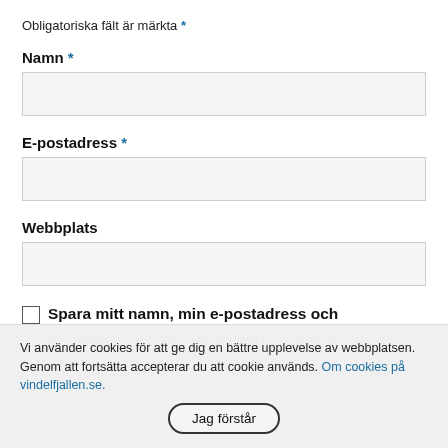Obligatoriska fält är märkta *
Namn *
E-postadress *
Webbplats
Spara mitt namn, min e-postadress och webbplats i denna webbläsare till nästa
Vi använder cookies för att ge dig en bättre upplevelse av webbplatsen. Genom att fortsätta accepterar du att cookie används. Om cookies på vindelfjallen.se.
Jag förstår